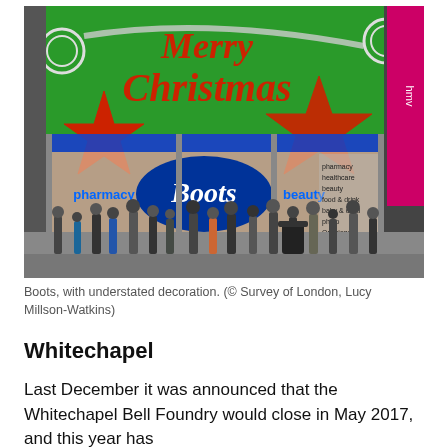[Figure (photo): Exterior of a Boots pharmacy store decorated with Christmas lights. The storefront has a large green background with 'Merry Christmas' written in red script letters, red star-shaped decorations, and the Boots logo in a blue oval. Signs on the right read 'pharmacy, healthcare, beauty, food & drink, baby & child, photo, Opticians'. The street in front is busy with pedestrians.]
Boots, with understated decoration. (© Survey of London, Lucy Millson-Watkins)
Whitechapel
Last December it was announced that the Whitechapel Bell Foundry would close in May 2017, and this year has